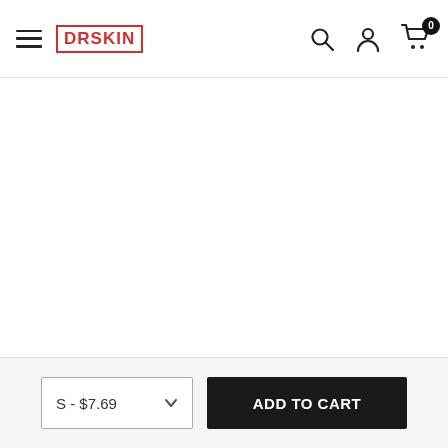DRSKIN — Navigation bar with hamburger menu, search, account, and cart icons
[Figure (screenshot): Large white product image area (product image not visible)]
S - $7.69
ADD TO CART